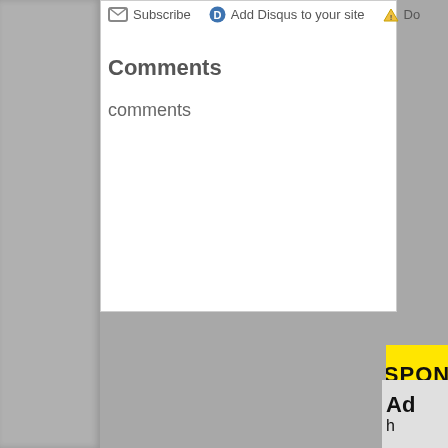Subscribe
Add Disqus to your site
Do
Comments
comments
[Figure (infographic): Yellow SPON label banner (partially cropped at right edge)]
[Figure (infographic): White advertisement box (partially cropped at right edge)]
[Figure (infographic): Light gray advertisement box with bold text 'Ad' partially visible at right edge]